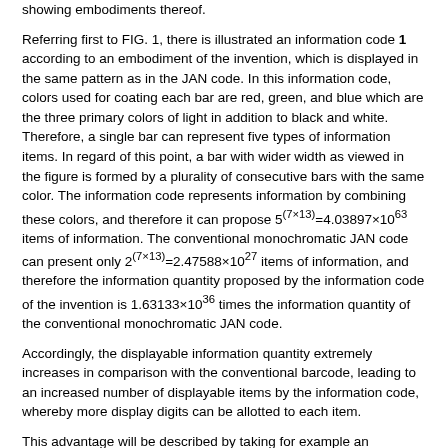showing embodiments thereof.
Referring first to FIG. 1, there is illustrated an information code 1 according to an embodiment of the invention, which is displayed in the same pattern as in the JAN code. In this information code, colors used for coating each bar are red, green, and blue which are the three primary colors of light in addition to black and white. Therefore, a single bar can represent five types of information items. In regard of this point, a bar with wider width as viewed in the figure is formed by a plurality of consecutive bars with the same color. The information code represents information by combining these colors, and therefore it can propose 5^(7×13)=4.03897×10^63 items of information. The conventional monochromatic JAN code can present only 2^(7×13)=2.47588×10^27 items of information, and therefore the information quantity proposed by the information code of the invention is 1.63133×10^36 times the information quantity of the conventional monochromatic JAN code.
Accordingly, the displayable information quantity extremely increases in comparison with the conventional barcode, leading to an increased number of displayable items by the information code, whereby more display digits can be allotted to each item.
This advantage will be described by taking for example an information code attached to commodities in a supermarket, in a more specific manner. By employing the information code of the invention, items such as a